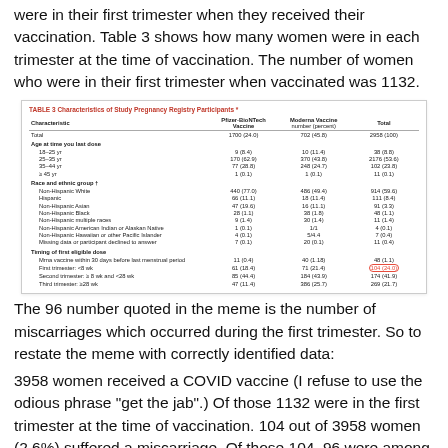were in their first trimester when they received their vaccination.  Table 3 shows how many women were in each trimester at the time of vaccination.  The number of women who were in their first trimester when vaccinated was 1132.
[Figure (table-as-image): Table 3: Characteristics of Study Pregnancy Registry Participants. Shows data columns for Pfizer-BioNTech Vaccine, Moderna Vaccine, and Total (number, percent) across various demographic rows including age groups, race/ethnicity, and timing of first eligible dose. A red circle highlights the 'First trimester: <8 wk' value in the Total column reading 104 (24.0).]
The 96 number quoted in the meme is the number of miscarriages which occurred during the first trimester.  So to restate the meme with correctly identified data:
3958 women received a COVID vaccine (I refuse to use the odious phrase "get the jab".)  Of those 1132 were in the first trimester at the time of vaccination.  104 out of 3958 women (2.6%) suffered a miscarriage.  Of those 104, 96 were among the 1132 women vaccinated during their first trimester.